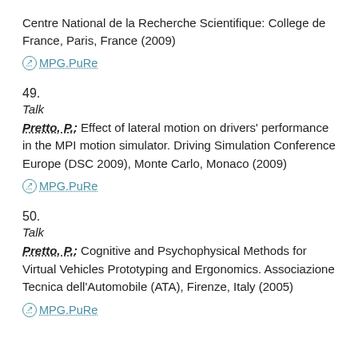Centre National de la Recherche Scientifique: College de France, Paris, France (2009)
MPG.PuRe
49.
Talk
Pretto, P.: Effect of lateral motion on drivers' performance in the MPI motion simulator. Driving Simulation Conference Europe (DSC 2009), Monte Carlo, Monaco (2009)
MPG.PuRe
50.
Talk
Pretto, P.: Cognitive and Psychophysical Methods for Virtual Vehicles Prototyping and Ergonomics. Associazione Tecnica dell'Automobile (ATA), Firenze, Italy (2005)
MPG.PuRe